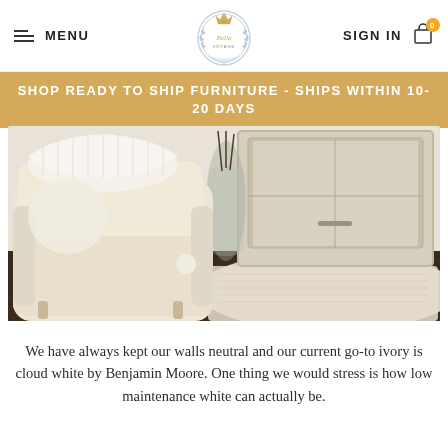MENU | The Bella Voyage logo | SIGN IN | Cart (0)
SHOP READY TO SHIP FURNITURE - SHIPS WITHIN 10-20 DAYS
[Figure (photo): Interior room photo showing a cream/ivory armchair with white knit blanket and pillow, glass vases with sticks, a white ornate mirror/cabinet, and a textured ivory rug on dark hardwood floor.]
We have always kept our walls neutral and our current go-to ivory is cloud white by Benjamin Moore. One thing we would stress is how low maintenance white can actually be.